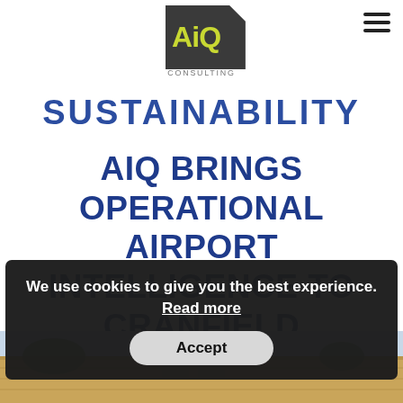[Figure (logo): AiQ Consulting logo — dark grey angular shape with 'AiQ' in yellow-green and 'CONSULTING' in grey below]
SUSTAINABILITY
AIQ BRINGS OPERATIONAL AIRPORT INTELLIGENCE TO CRANFIELD
Monday, February 28, 2022
[Figure (photo): Partial photo of a brick building (airport/university), cut off at bottom of page]
We use cookies to give you the best experience. Read more
Accept